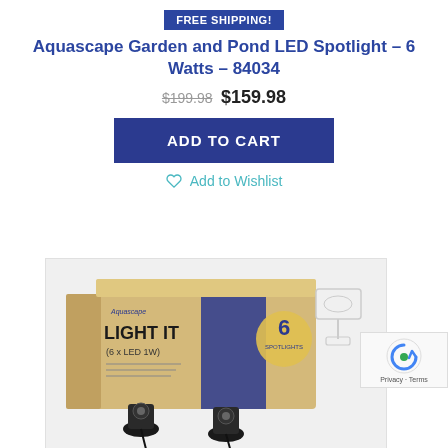FREE SHIPPING!
Aquascape Garden and Pond LED Spotlight – 6 Watts – 84034
$199.98 $159.98
ADD TO CART
Add to Wishlist
[Figure (photo): Product photo showing Aquascape LIGHT IT (6 x LED 1W) box packaging with LED spotlight units displayed in front]